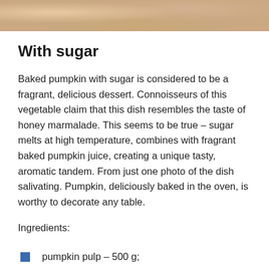[Figure (photo): Top strip showing a partial photo of pumpkin dish preparation]
With sugar
Baked pumpkin with sugar is considered to be a fragrant, delicious dessert. Connoisseurs of this vegetable claim that this dish resembles the taste of honey marmalade. This seems to be true – sugar melts at high temperature, combines with fragrant baked pumpkin juice, creating a unique tasty, aromatic tandem. From just one photo of the dish salivating. Pumpkin, deliciously baked in the oven, is worthy to decorate any table.
Ingredients:
pumpkin pulp – 500 g;